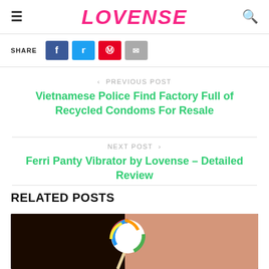LOVENSE
SHARE
< PREVIOUS POST
Vietnamese Police Find Factory Full of Recycled Condoms For Resale
NEXT POST >
Ferri Panty Vibrator by Lovense – Detailed Review
RELATED POSTS
[Figure (photo): A hand holding a rainbow-colored lollipop against a skin-toned background]